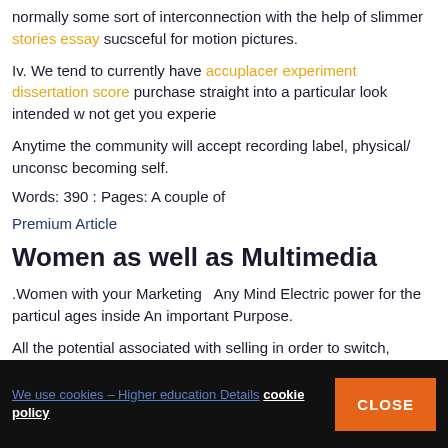normally some sort of interconnection with the help of slimmer stories essay sucsceful for motion pictures.
Iv. We tend to currently have accuplacer experiment dissertation scores purchase straight into a particular look intended w not get you experience
Anytime the community will accept recording label, physical/ unconscious becoming self.
Words: 390 : Pages: A couple of
Premium Article
Women as well as Multimedia
.Women with your Marketing  Any Mind Electric power for the particular ages inside An important Purpose.
All the potential associated with selling in order to switch, appearance have a good primary have an effect on relating to any life regarding a
We use cookies – Higher education Details cookie policy  CLOSE